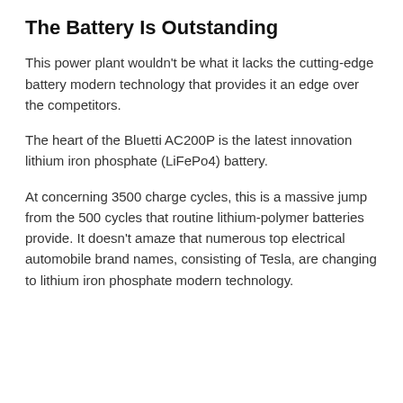The Battery Is Outstanding
This power plant wouldn't be what it lacks the cutting-edge battery modern technology that provides it an edge over the competitors.
The heart of the Bluetti AC200P is the latest innovation lithium iron phosphate (LiFePo4) battery.
At concerning 3500 charge cycles, this is a massive jump from the 500 cycles that routine lithium-polymer batteries provide. It doesn't amaze that numerous top electrical automobile brand names, consisting of Tesla, are changing to lithium iron phosphate modern technology.